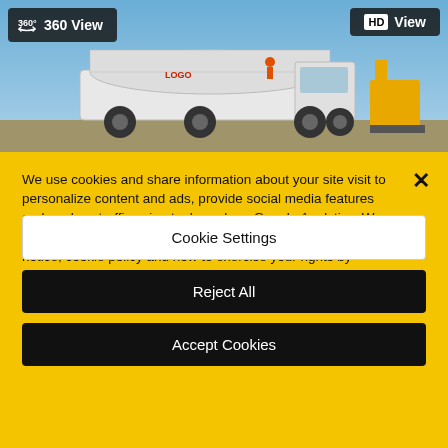[Figure (photo): A photo strip showing a white tanker truck under blue sky, with construction equipment visible. Overlaid with '360 View' button (top-left) and 'HD View' button (top-right).]
We use cookies and share information about your site visit to personalize content and ads, provide social media features and analyze traffic using tools such as Google Analytics. We do not sell your personal information. You can view our privacy notice, cookie policy and how to exercise your rights by clicking the following link. Privacy Notice
Cookie Settings
Reject All
Accept Cookies